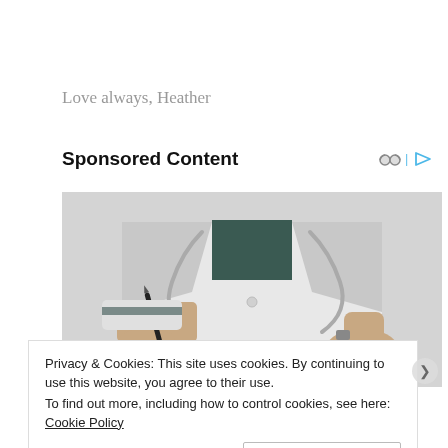Love always, Heather
Sponsored Content
[Figure (photo): A doctor in a white lab coat with a stethoscope, holding a pen in one hand with the other hand open, torso and hands visible.]
Privacy & Cookies: This site uses cookies. By continuing to use this website, you agree to their use.
To find out more, including how to control cookies, see here: Cookie Policy
Close and accept